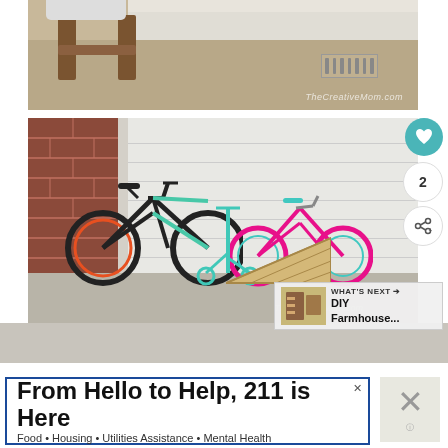[Figure (photo): Photo of a wooden plant stand with white planter on carpet floor, with floor vent visible. Watermark reads TheCreativeMom.com]
[Figure (photo): Photo of two bicycles (black and pink) and a teal scooter with wooden ramp in front of a garage door. Social interaction buttons visible (heart, count=2, share). 'What's Next' overlay shows DIY Farmhouse... Watermark reads TheCreativeMom.com]
From Hello to Help, 211 is Here
Food • Housing • Utilities Assistance • Mental Health